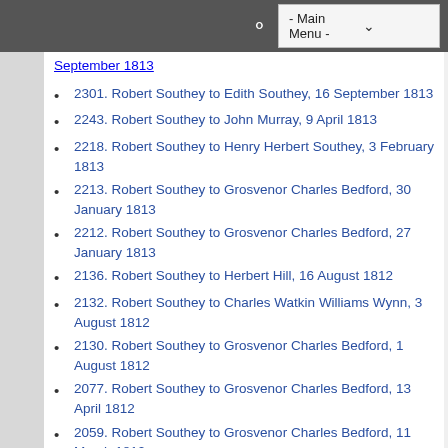- Main Menu -
September 1813
2301. Robert Southey to Edith Southey, 16 September 1813
2243. Robert Southey to John Murray, 9 April 1813
2218. Robert Southey to Henry Herbert Southey, 3 February 1813
2213. Robert Southey to Grosvenor Charles Bedford, 30 January 1813
2212. Robert Southey to Grosvenor Charles Bedford, 27 January 1813
2136. Robert Southey to Herbert Hill, 16 August 1812
2132. Robert Southey to Charles Watkin Williams Wynn, 3 August 1812
2130. Robert Southey to Grosvenor Charles Bedford, 1 August 1812
2077. Robert Southey to Grosvenor Charles Bedford, 13 April 1812
2059. Robert Southey to Grosvenor Charles Bedford, 11 March 1812